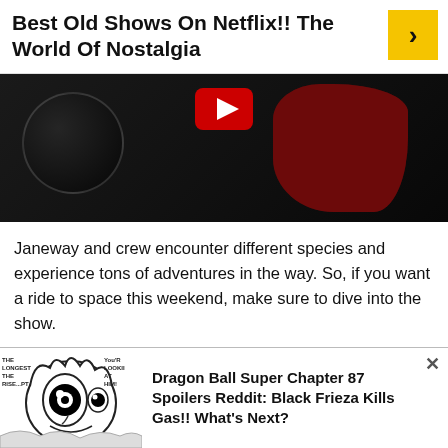Best Old Shows On Netflix!! The World Of Nostalgia
[Figure (screenshot): Dark video thumbnail showing a circular shape on the left and a red figure on the right, with a YouTube play button overlay in the center-top area.]
Janeway and crew encounter different species and experience tons of adventures in the way. So, if you want a ride to space this weekend, make sure to dive into the show.
#4 “Friday Night Lights”
[Figure (illustration): Manga-style illustration (Dragon Ball) showing a character with large eyes and text 'THE LONGEST THE RISE...PT', 'You'r LOOKII AT HIM!' as an advertisement banner.]
Dragon Ball Super Chapter 87 Spoilers Reddit: Black Frieza Kills Gas!! What's Next?